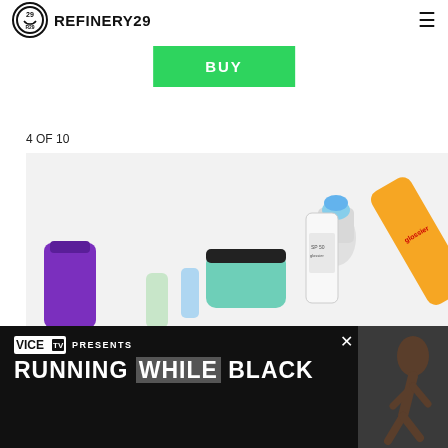REFINERY29
GLOSSIER
BUY
4 OF 10
[Figure (photo): Beauty/cosmetic products flatlay including tubes, bottles, makeup cases in various colors (purple, teal, white, orange, blue) on a light background. Glossier branded products visible.]
[Figure (photo): VICE TV advertisement banner. Logo reads VICE TV PRESENTS. Text reads RUNNING WHILE BLACK. Features a photo of a Black man running.]